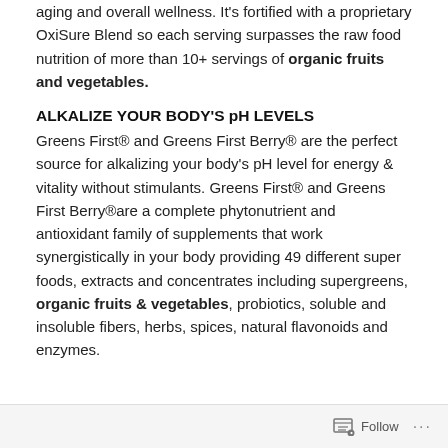aging and overall wellness. It's fortified with a proprietary OxiSure Blend so each serving surpasses the raw food nutrition of more than 10+ servings of organic fruits and vegetables.
ALKALIZE YOUR BODY'S pH LEVELS
Greens First® and Greens First Berry® are the perfect source for alkalizing your body's pH level for energy & vitality without stimulants. Greens First® and Greens First Berry®are a complete phytonutrient and antioxidant family of supplements that work synergistically in your body providing 49 different super foods, extracts and concentrates including supergreens, organic fruits & vegetables, probiotics, soluble and insoluble fibers, herbs, spices, natural flavonoids and enzymes.
Follow